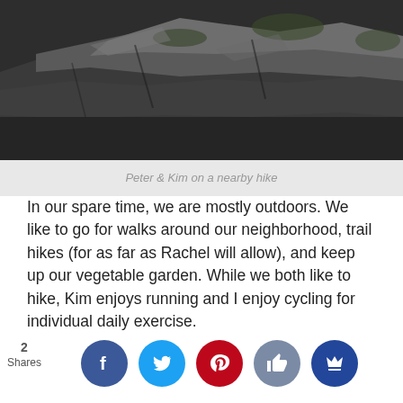[Figure (photo): Rocky landscape photo showing large stones/boulders with moss and dark background, appears to be from a hike]
Peter & Kim on a nearby hike
In our spare time, we are mostly outdoors. We like to go for walks around our neighborhood, trail hikes (for as far as Rachel will allow), and keep up our vegetable garden. While we both like to hike, Kim enjoys running and I enjoy cycling for individual daily exercise.
Fortunately, we've been able to incorporate Rachel into both of those activities with a baby jogger and bike trailer! In the next few years, we look forward to getting her into swim classes and, when age-appropriate, an outdoor pre-school. She is most assuredly the center of our lives and we are grateful for the opportunity to parent